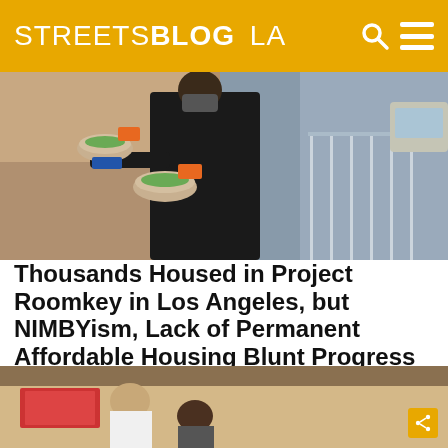STREETSBLOG LA
[Figure (photo): Person in black clothing holding food bowls/trays, outdoors near a railing]
Thousands Housed in Project Roomkey in Los Angeles, but NIMBYism, Lack of Permanent Affordable Housing Blunt Progress
By Damien Newton | Jun 19, 2020
The Project Roomkey program temporarily houses unhoused individuals in hotel rooms during the COVID-19 crisis
[Figure (photo): People seated indoors, partial view of room interior]